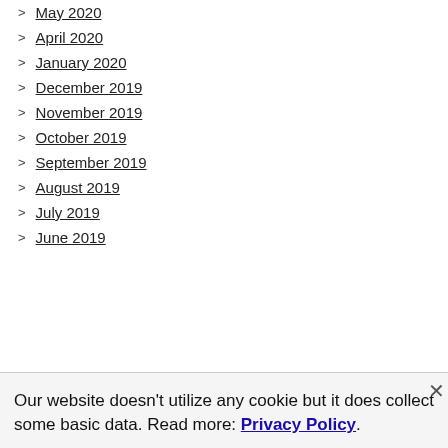May 2020
April 2020
January 2020
December 2019
November 2019
October 2019
September 2019
August 2019
July 2019
June 2019
Our website doesn't utilize any cookie but it does collect some basic data. Read more: Privacy Policy.